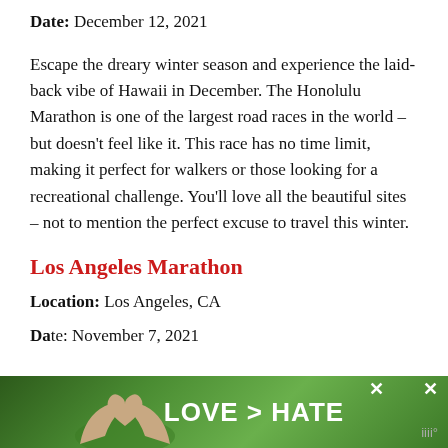Date: December 12, 2021
Escape the dreary winter season and experience the laid-back vibe of Hawaii in December. The Honolulu Marathon is one of the largest road races in the world – but doesn't feel like it. This race has no time limit, making it perfect for walkers or those looking for a recreational challenge. You'll love all the beautiful sites – not to mention the perfect excuse to travel this winter.
Los Angeles Marathon
Location: Los Angeles, CA
Date: November 7, 2021
[Figure (photo): Advertisement banner at bottom of page showing two hands forming a heart shape against a green background with text 'LOVE > HATE']